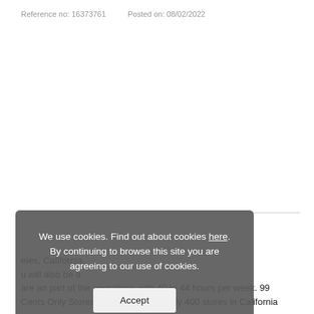Reference no: 16373761    Posted on: 08/02/2022
[Figure (screenshot): Cookie consent overlay banner with semi-transparent gray background. Text reads: 'We use cookies. Find out about cookies here. By continuing to browse this site you are agreeing to our use of cookies.' with an Accept button below.]
...eles, California, ...u will also be a ...are an part of the operations with 40 to 44 hours per week. 99 Cents Only Stores, LLC operates nearly 400 stores in California